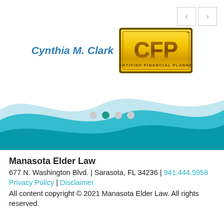[Figure (screenshot): Navigation arrows (< and >) in the top-right corner of a website slider]
[Figure (logo): CFP Certified Financial Planner gold badge logo next to the name Cynthia M. Clark in blue italic text]
[Figure (illustration): Decorative wave graphic in teal/light blue colors at the bottom of the slider area, with four carousel dots (one teal/active, three gray)]
Manasota Elder Law
677 N. Washington Blvd. | Sarasota, FL 34236 | 941.444.5958
Privacy Policy | Disclaimer
All content copyright © 2021 Manasota Elder Law. All rights reserved.